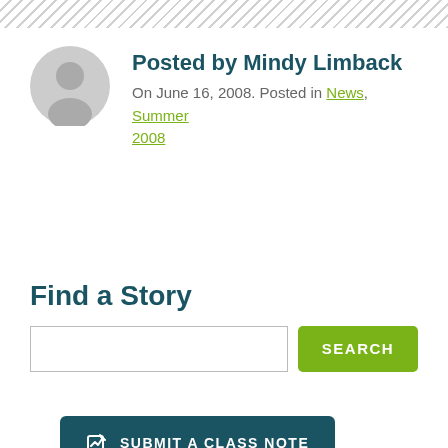[Figure (illustration): Diagonal stripe header bar at top of page]
Posted by Mindy Limback
On June 16, 2008. Posted in News, Summer 2008
Find a Story
Search input and SEARCH button
SUBMIT A CLASS NOTE
Also at COT M...